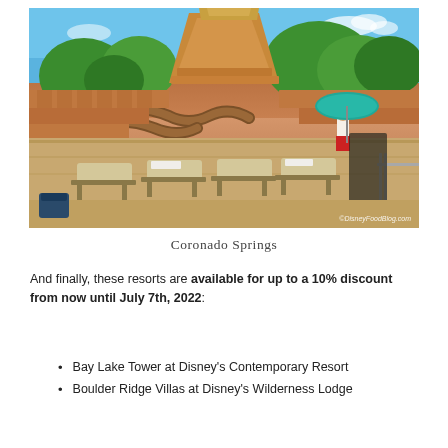[Figure (photo): Photo of Coronado Springs resort pool area with Mayan pyramid structure, lounge chairs, and a person standing under a teal umbrella. Sandy brick terrace in foreground. Watermark: ©DisneyFoodBlog.com]
Coronado Springs
And finally, these resorts are available for up to a 10% discount from now until July 7th, 2022:
Bay Lake Tower at Disney's Contemporary Resort
Boulder Ridge Villas at Disney's Wilderness Lodge